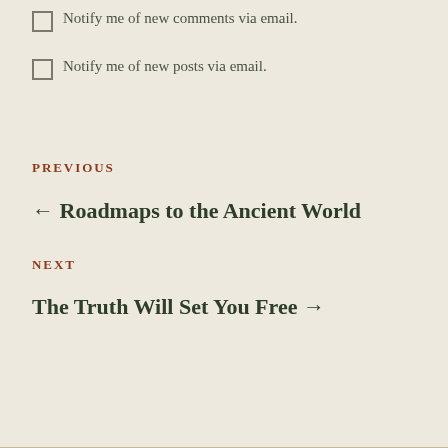Notify me of new comments via email.
Notify me of new posts via email.
PREVIOUS
← Roadmaps to the Ancient World
NEXT
The Truth Will Set You Free →